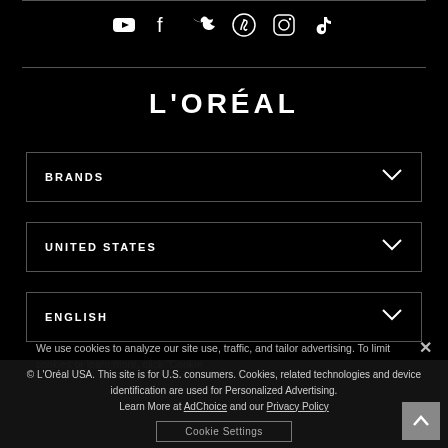[Figure (illustration): Social media icons row: YouTube, Facebook, Twitter, Pinterest, Instagram, TikTok]
L'ORÉAL
BRANDS (dropdown)
UNITED STATES (dropdown)
ENGLISH (dropdown)
We use cookies to analyze our site use, traffic, and tailor advertising. To learn more, click "Cookie Settings".
© L'Oréal USA. This site is for U.S. consumers. Cookies, related technologies and device identification are used for Personalized Advertising. Learn More at AdChoice and our Privacy Policy
Cookie Settings